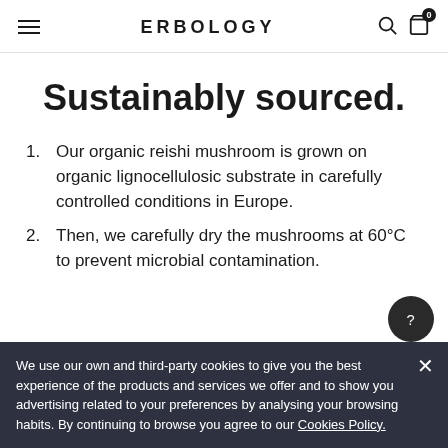ERBOLOGY
Sustainably sourced.
Our organic reishi mushroom is grown on organic lignocellulosic substrate in carefully controlled conditions in Europe.
Then, we carefully dry the mushrooms at 60°C to prevent microbial contamination.
We use our own and third-party cookies to give you the best experience of the products and services we offer and to show you advertising related to your preferences by analysing your browsing habits. By continuing to browse you agree to our Cookies Policy.